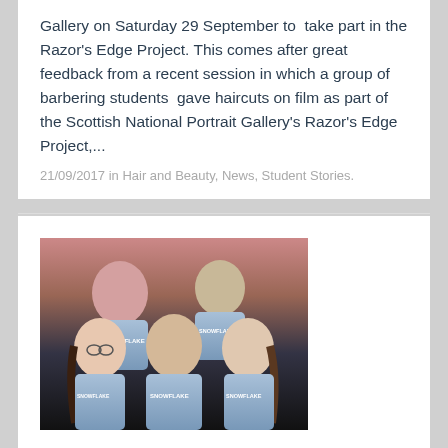Gallery on Saturday 29 September to  take part in the Razor's Edge Project. This comes after great feedback from a recent session in which a group of barbering students  gave haircuts on film as part of the Scottish National Portrait Gallery's Razor's Edge Project,...
21/09/2017 in Hair and Beauty, News, Student Stories.
[Figure (photo): Group photo of five students wearing light blue SNOWFLAKE t-shirts, posed together against a dark background.]
Siobhan Redmond joins college graduates in the cast of Mark